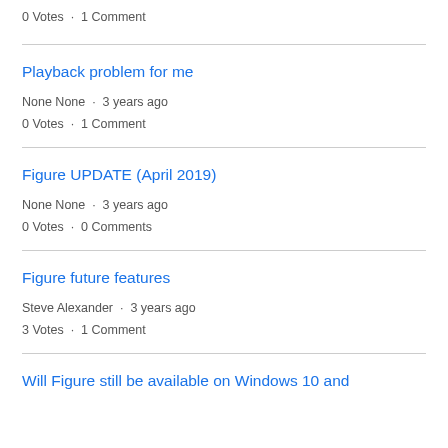0 Votes · 1 Comment
Playback problem for me
None None · 3 years ago
0 Votes · 1 Comment
Figure UPDATE (April 2019)
None None · 3 years ago
0 Votes · 0 Comments
Figure future features
Steve Alexander · 3 years ago
3 Votes · 1 Comment
Will Figure still be available on Windows 10 and